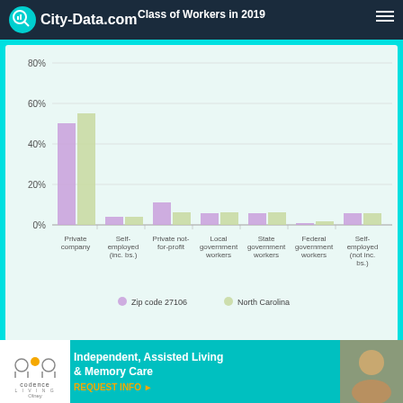City-Data.com
Class of Workers in 2019
[Figure (grouped-bar-chart): Class of Workers in 2019]
Occupation by median earnings in the past 12 months
(Note: State values scaled to 27106 population)
[Figure (advertisement): Codence Living advertisement — Independent, Assisted Living & Memory Care, REQUEST INFO]